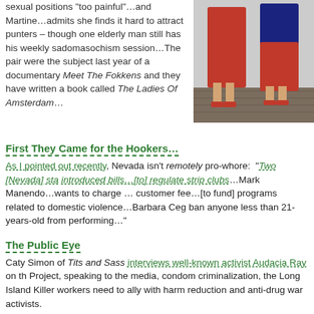sexual positions “too painful”…and Martine…admits she finds it hard to attract punters – though one elderly man still has his weekly sadomasochism session…The pair were the subject last year of a documentary Meet The Fokkens and they have written a book called The Ladies Of Amsterdam…
[Figure (photo): Photo of two elderly women in red dresses standing on a brick street, one wearing red high heels]
First They Came for the Hookers…
As I pointed out recently, Nevada isn’t remotely pro-whore: “Two [Nevada] sta introduced bills…[to] regulate strip clubs…Mark Manendo…wants to charge … customer fee…[to fund] programs related to domestic violence…Barbara Ceg ban anyone less than 21-years-old from performing…”
The Public Eye
Caty Simon of Tits and Sass interviews well-known activist Audacia Ray on th Project, speaking to the media, condom criminalization, the Long Island Killer workers need to ally with harm reduction and anti-drug war activists.
Monkey Business